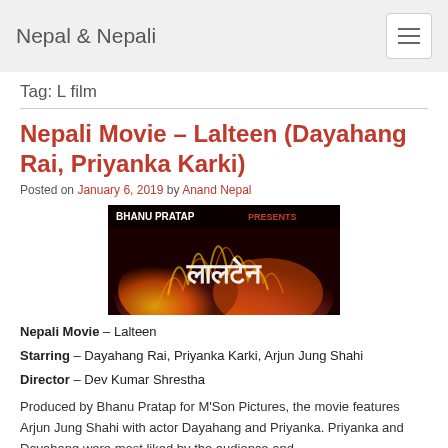Nepal & Nepali
Tag: L film
Nepali Movie – Lalteen (Dayahang Rai, Priyanka Karki)
Posted on January 6, 2019 by Anand Nepal
[Figure (photo): Movie poster/banner for Lalteen – a Nepali film showing fire effects with Devanagari script title and 'BHANU PRATAP' text at the top]
Nepali Movie – Lalteen
Starring – Dayahang Rai, Priyanka Karki, Arjun Jung Shahi
Director – Dev Kumar Shrestha
Produced by Bhanu Pratap for M'Son Pictures, the movie features Arjun Jung Shahi with actor Dayahang and Priyanka. Priyanka and Dayahang were most liked by the audience and